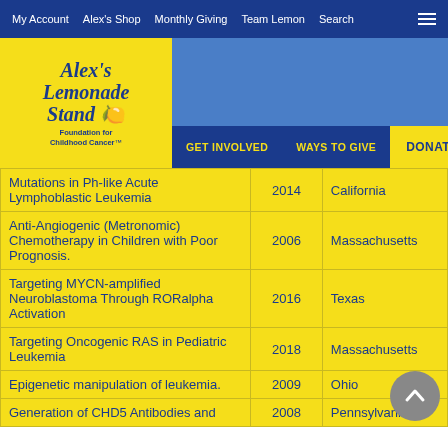My Account | Alex's Shop | Monthly Giving | Team Lemon | Search
[Figure (logo): Alex's Lemonade Stand Foundation for Childhood Cancer logo with navigation: GET INVOLVED, WAYS TO GIVE, DONATE]
| Research Title | Year | State |
| --- | --- | --- |
| Mutations in Ph-like Acute Lymphoblastic Leukemia | 2014 | California |
| Anti-Angiogenic (Metronomic) Chemotherapy in Children with Poor Prognosis. | 2006 | Massachusetts |
| Targeting MYCN-amplified Neuroblastoma Through RORalpha Activation | 2016 | Texas |
| Targeting Oncogenic RAS in Pediatric Leukemia | 2018 | Massachusetts |
| Epigenetic manipulation of leukemia. | 2009 | Ohio |
| Generation of CHD5 Antibodies and | 2008 | Pennsylvania |